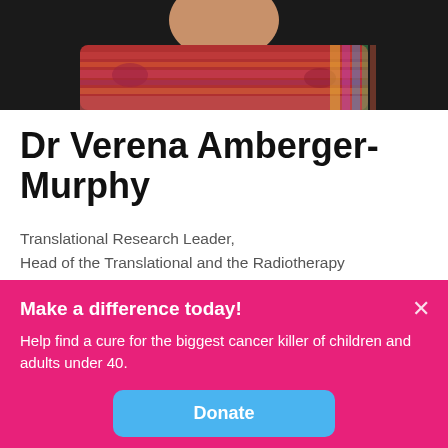[Figure (photo): Photo of Dr Verena Amberger-Murphy, partially cropped, wearing a colorful red/multicolor scarf and dark top]
Dr Verena Amberger-Murphy
Translational Research Leader,
Head of the Translational and the Radiotherapy Department
Operations Lead for CNS and paediatric tumours
Cancer Trials Ireland
Make a difference today!
Help find a cure for the biggest cancer killer of children and adults under 40.
Donate